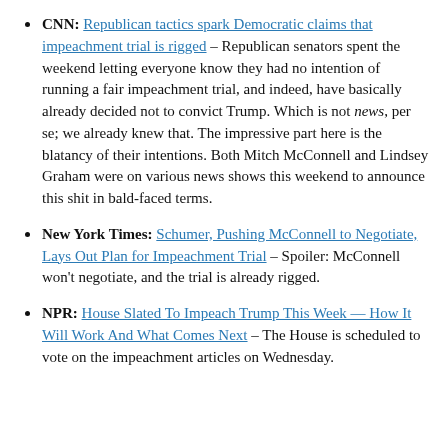CNN: Republican tactics spark Democratic claims that impeachment trial is rigged – Republican senators spent the weekend letting everyone know they had no intention of running a fair impeachment trial, and indeed, have basically already decided not to convict Trump. Which is not news, per se; we already knew that. The impressive part here is the blatancy of their intentions. Both Mitch McConnell and Lindsey Graham were on various news shows this weekend to announce this shit in bald-faced terms.
New York Times: Schumer, Pushing McConnell to Negotiate, Lays Out Plan for Impeachment Trial – Spoiler: McConnell won't negotiate, and the trial is already rigged.
NPR: House Slated To Impeach Trump This Week — How It Will Work And What Comes Next – The House is scheduled to vote on the impeachment articles on Wednesday.